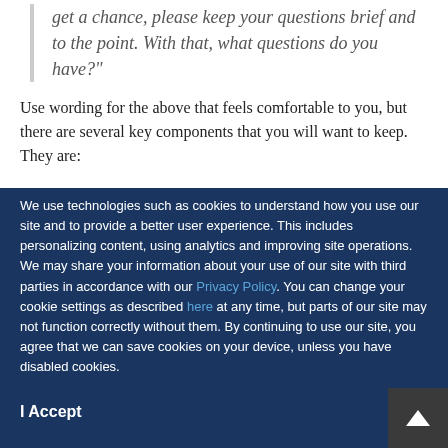get a chance, please keep your questions brief and to the point. With that, what questions do you have?"
Use wording for the above that feels comfortable to you, but there are several key components that you will want to keep. They are:
We use technologies such as cookies to understand how you use our site and to provide a better user experience. This includes personalizing content, using analytics and improving site operations. We may share your information about your use of our site with third parties in accordance with our Privacy Policy. You can change your cookie settings as described here at any time, but parts of our site may not function correctly without them. By continuing to use our site, you agree that we can save cookies on your device, unless you have disabled cookies.
I Accept